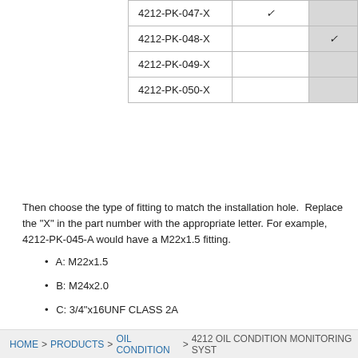| 4212-PK-047-X | ✓ |  |
| 4212-PK-048-X |  | ✓ |
| 4212-PK-049-X |  |  |
| 4212-PK-050-X |  |  |
Then choose the type of fitting to match the installation hole.  Replace the "X" in the part number with the appropriate letter. For example, 4212-PK-045-A would have a M22x1.5 fitting.
A: M22x1.5
B: M24x2.0
C: 3/4"x16UNF CLASS 2A
D: 1/2" BSPP
E: M20x1.5
HOME > PRODUCTS > OIL CONDITION > 4212 OIL CONDITION MONITORING SYST